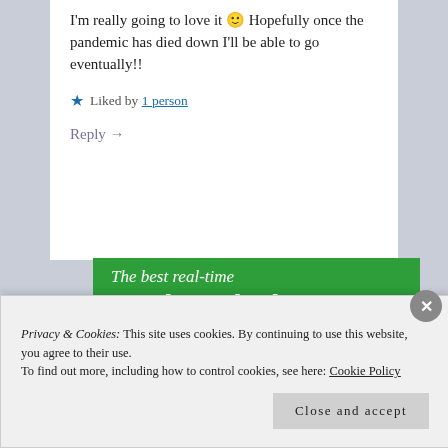I'm really going to love it 🙂 Hopefully once the pandemic has died down I'll be able to go eventually!!
★ Liked by 1 person
Reply →
[Figure (screenshot): Green WordPress backup plugin advertisement banner showing 'The best real-time WordPress backup plugin' with a 'Back up your site' button]
Privacy & Cookies: This site uses cookies. By continuing to use this website, you agree to their use. To find out more, including how to control cookies, see here: Cookie Policy
Close and accept